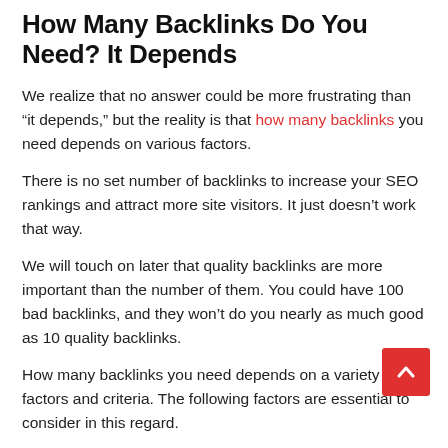How Many Backlinks Do You Need? It Depends
We realize that no answer could be more frustrating than "it depends," but the reality is that how many backlinks you need depends on various factors.
There is no set number of backlinks to increase your SEO rankings and attract more site visitors. It just doesn't work that way.
We will touch on later that quality backlinks are more important than the number of them. You could have 100 bad backlinks, and they won't do you nearly as much good as 10 quality backlinks.
How many backlinks you need depends on a variety of factors and criteria. The following factors are essential to consider in this regard.
One of the most important factors is how well known and